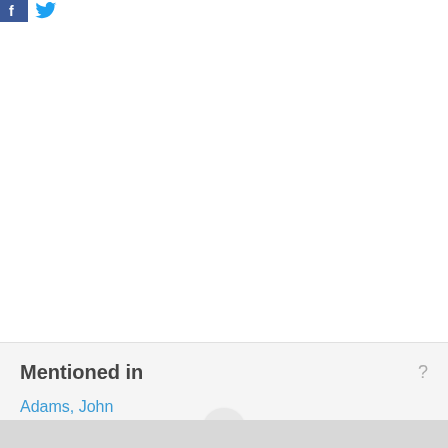[Figure (logo): Facebook icon (blue square with white 'f') and Twitter bird icon (blue bird) in the top-left corner]
Mentioned in
Adams, John